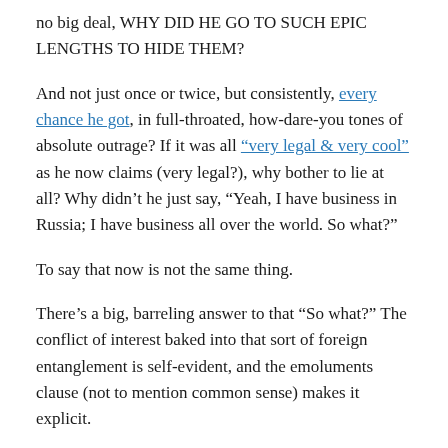no big deal, WHY DID HE GO TO SUCH EPIC LENGTHS TO HIDE THEM?
And not just once or twice, but consistently, every chance he got, in full-throated, how-dare-you tones of absolute outrage? If it was all "very legal & very cool" as he now claims (very legal?), why bother to lie at all? Why didn’t he just say, “Yeah, I have business in Russia; I have business all over the world. So what?”
To say that now is not the same thing.
There’s a big, barreling answer to that “So what?” The conflict of interest baked into that sort of foreign entanglement is self-evident, and the emoluments clause (not to mention common sense) makes it explicit.
But even beyond that, business arrangements with a foreign power